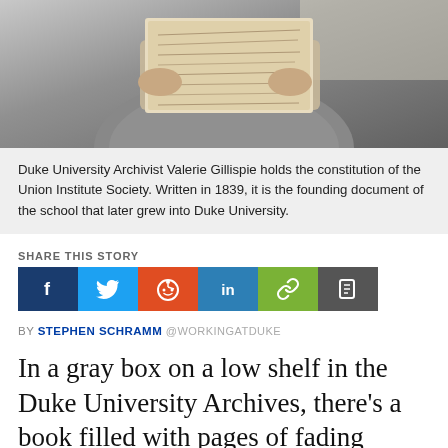[Figure (photo): A person holding up an old handwritten book/document above their face, wearing a gray knit sweater, in front of a window with shelves visible. Photo taken at Duke University Archives.]
Duke University Archivist Valerie Gillispie holds the constitution of the Union Institute Society. Written in 1839, it is the founding document of the school that later grew into Duke University.
SHARE THIS STORY
[Figure (infographic): Social share buttons: Facebook (dark blue, f), Twitter (light blue, bird), Reddit (orange, alien), LinkedIn (blue, in), Link (green, chain), Copy (gray, document icon)]
BY STEPHEN SCHRAMM @WORKINGATDUKE
In a gray box on a low shelf in the Duke University Archives, there’s a book filled with pages of fading handwriting.